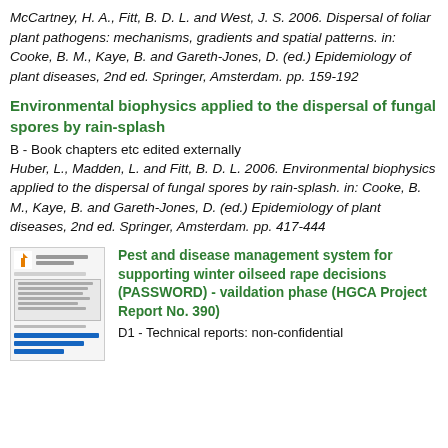McCartney, H. A., Fitt, B. D. L. and West, J. S. 2006. Dispersal of foliar plant pathogens: mechanisms, gradients and spatial patterns. in: Cooke, B. M., Kaye, B. and Gareth-Jones, D. (ed.) Epidemiology of plant diseases, 2nd ed. Springer, Amsterdam. pp. 159-192
Environmental biophysics applied to the dispersal of fungal spores by rain-splash
B - Book chapters etc edited externally
Huber, L., Madden, L. and Fitt, B. D. L. 2006. Environmental biophysics applied to the dispersal of fungal spores by rain-splash. in: Cooke, B. M., Kaye, B. and Gareth-Jones, D. (ed.) Epidemiology of plant diseases, 2nd ed. Springer, Amsterdam. pp. 417-444
[Figure (screenshot): Thumbnail image of a document cover page with title and blue lines]
Pest and disease management system for supporting winter oilseed rape decisions (PASSWORD) - vaildation phase (HGCA Project Report No. 390)
D1 - Technical reports: non-confidential